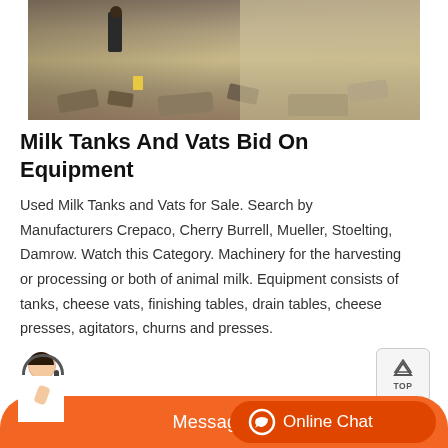[Figure (photo): Outdoor construction or demolition site with a person standing among debris and rocks, yellowish background wall]
Milk Tanks And Vats Bid On Equipment
Used Milk Tanks and Vats for Sale. Search by Manufacturers Crepaco, Cherry Burrell, Mueller, Stoelting, Damrow. Watch this Category. Machinery for the harvesting or processing or both of animal milk. Equipment consists of tanks, cheese vats, finishing tables, drain tables, cheese presses, agitators, churns and presses.
[Figure (photo): Mountain landscape with steep rocky hillsides, terraced slopes, and a valley below under a pale sky]